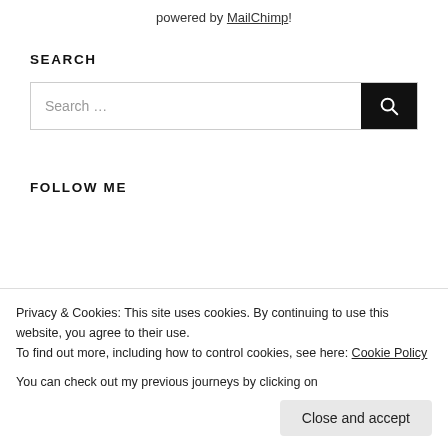powered by MailChimp!
SEARCH
Search ...
FOLLOW ME
ABOUT ME
Privacy & Cookies: This site uses cookies. By continuing to use this website, you agree to their use.
To find out more, including how to control cookies, see here: Cookie Policy
You can check out my previous journeys by clicking on